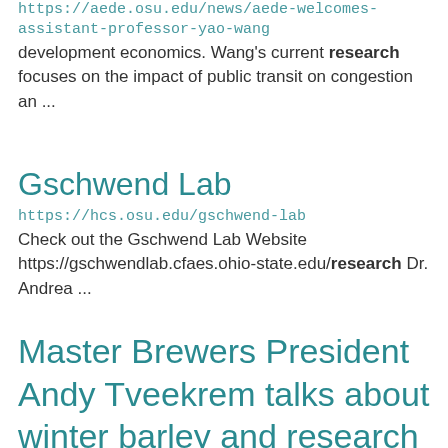https://aede.osu.edu/news/aede-welcomes-assistant-professor-yao-wang
development economics. Wang's current research focuses on the impact of public transit on congestion an ...
Gschwend Lab
https://hcs.osu.edu/gschwend-lab
Check out the Gschwend Lab Website https://gschwendlab.cfaes.ohio-state.edu/research Dr. Andrea ...
Master Brewers President Andy Tveekrem talks about winter barley and research done by Eric